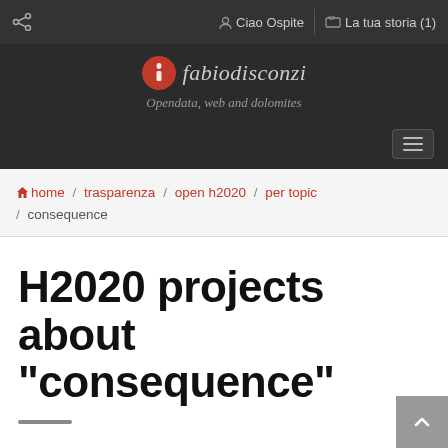share  Ciao Ospite  La tua storia (1)
[Figure (logo): fabiodisconzi logo with red circle icon and italic text, tagline: Opendata, web and dolomites]
home / trasparenza / open h2020 / per topic / consequence
H2020 projects about "consequence"